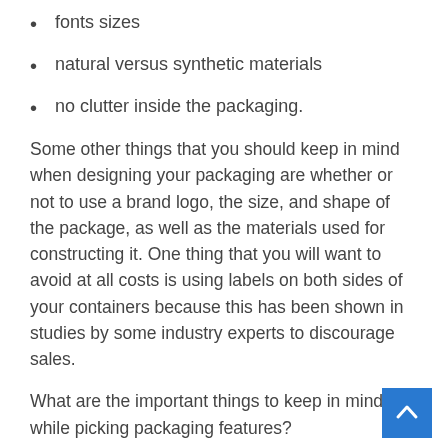fonts sizes
natural versus synthetic materials
no clutter inside the packaging.
Some other things that you should keep in mind when designing your packaging are whether or not to use a brand logo, the size, and shape of the package, as well as the materials used for constructing it. One thing that you will want to avoid at all costs is using labels on both sides of your containers because this has been shown in studies by some industry experts to discourage sales.
What are the important things to keep in mind while picking packaging features?
-Signing packaging: texture/movement, different colors, fonts sizes, natural versus synthetic materials